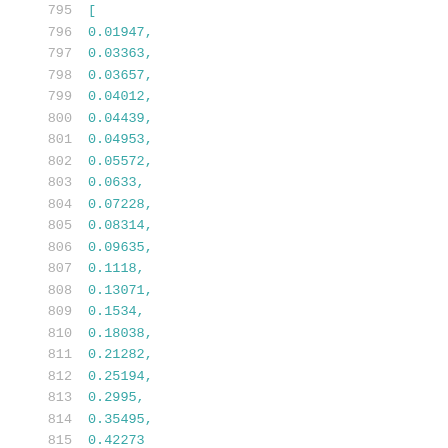795  [
796  0.01947,
797  0.03363,
798  0.03657,
799  0.04012,
800  0.04439,
801  0.04953,
802  0.05572,
803  0.0633,
804  0.07228,
805  0.08314,
806  0.09635,
807  0.1118,
808  0.13071,
809  0.1534,
810  0.18038,
811  0.21282,
812  0.25194,
813  0.2995,
814  0.35495,
815  0.42273